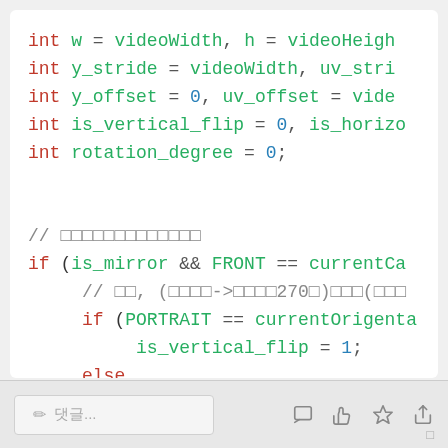[Figure (screenshot): Code snippet showing C variable declarations and if/else block with is_mirror, FRONT, PORTRAIT, currentCamera/currentOrigentation checks, setting is_vertical_flip and is_horizontal_flip. Includes Korean comments.]
✏ 댓글...